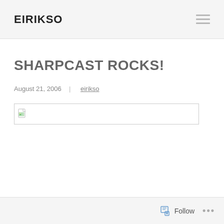EIRIKSO
SHARPCAST ROCKS!
August 21, 2006  |  eirikso
[Figure (other): Broken image placeholder with border]
Follow ...